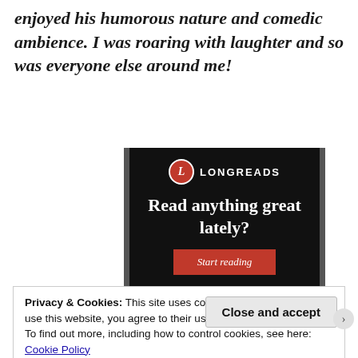enjoyed his humorous nature and comedic ambience. I was roaring with laughter and so was everyone else around me!
[Figure (screenshot): Longreads advertisement banner on dark background with logo, headline 'Read anything great lately?' and a red 'Start reading' button]
Privacy & Cookies: This site uses cookies. By continuing to use this website, you agree to their use.
To find out more, including how to control cookies, see here: Cookie Policy
Close and accept